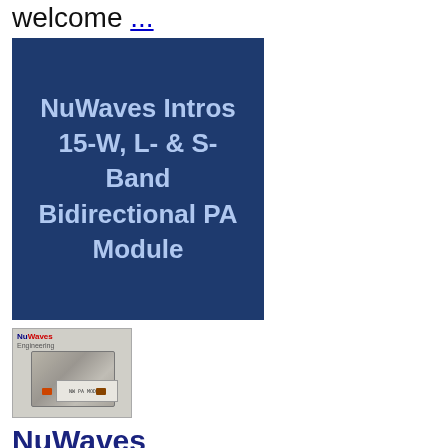welcome ...
[Figure (other): Dark blue banner with white bold text reading: NuWaves Intros 15-W, L- & S-Band Bidirectional PA Module]
[Figure (photo): Photo of a NuWaves Engineering bidirectional PA module product — a compact rectangular metal enclosure with RF connectors on each side, labeled with NuWaves Engineering logo in red and blue at top left.]
NuWaves